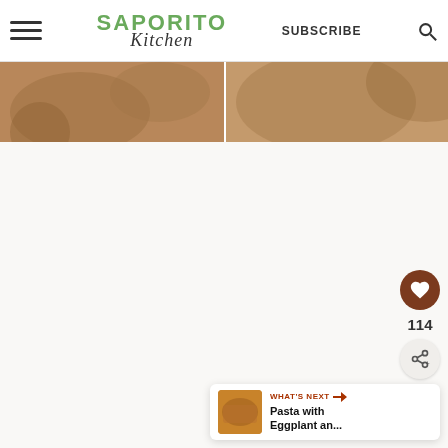SAPORITO Kitchen — SUBSCRIBE
[Figure (photo): Photo strip of food/ingredients in warm brown tones, split into two panels]
[Figure (other): Light beige/cream content area background]
[Figure (other): Heart favorite button with count 114 and share button on right side]
114
WHAT'S NEXT → Pasta with Eggplant an...